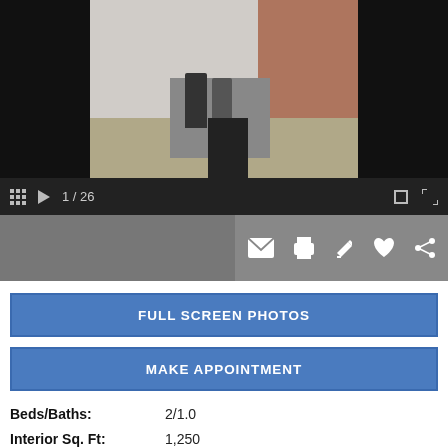[Figure (photo): Exterior photo of a brick rowhouse with two people standing on the front steps, shown in a photo viewer interface with black bars on sides]
1 / 26
[Figure (screenshot): Action bar with icons for email, print, edit, favorite (heart), and share]
FULL SCREEN PHOTOS
MAKE APPOINTMENT
Beds/Baths: 2/1.0
Interior Sq. Ft: 1,250
Acreage: 0.02
Age: 122 years
Style: Traditional
MLS#: DENC2012104
Mobile#: 5700
Subdivision: Hedgeville